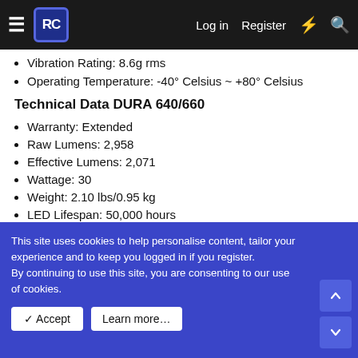RC [logo] | Log in | Register
Vibration Rating: 8.6g rms
Operating Temperature: -40° Celsius ~ +80° Celsius
Technical Data DURA 640/660
Warranty: Extended
Raw Lumens: 2,958
Effective Lumens: 2,071
Wattage: 30
Weight: 2.10 lbs/0.95 kg
LED Lifespan: 50,000 hours
Dimensions: 5.39" x 2.57" x 4.28" / 136.7 mm x 69 mm x 106.5 mm
Input Voltage: 11-65V DC
Amp Draw: 2.5A
IP Rating: IP-68
This site uses cookies to help personalise content, tailor your experience and to keep you logged in if you register.
By continuing to use this site, you are consenting to our use of cookies.